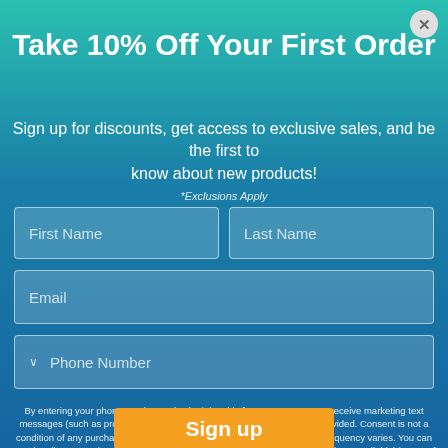Take 10% Off Your First Order
Sign up for discounts, get access to exclusive sales, and be the first to know about new products!
*Exclusions Apply
[Figure (screenshot): Email signup form with First Name, Last Name, Email, and Phone Number input fields]
By entering your phone number and submitting this form, you consent to receive marketing text messages (such as promotion codes) from ExpressMed at the number provided. Consent is not a condition of any purchase. Message and data rates may apply. Message frequency varies. You can unsubscribe at any time by replying STOP or clicking the unsubscribe link (where available) in one of our messages. View our Privacy Policy and Terms of Service.
Sign up